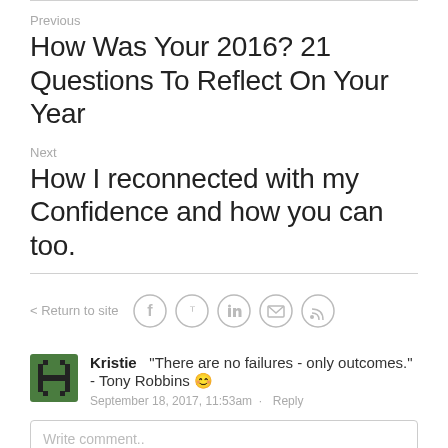Previous
How Was Your 2016? 21 Questions To Reflect On Your Year
Next
How I reconnected with my Confidence and how you can too.
< Return to site
[Figure (illustration): Social share icons: Facebook, Twitter, LinkedIn, Email, RSS]
[Figure (illustration): User avatar - green pixel art icon for Kristie]
Kristie  "There are no failures - only outcomes." - Tony Robbins 😊  September 18, 2017, 11:53am · Reply
Write comment..